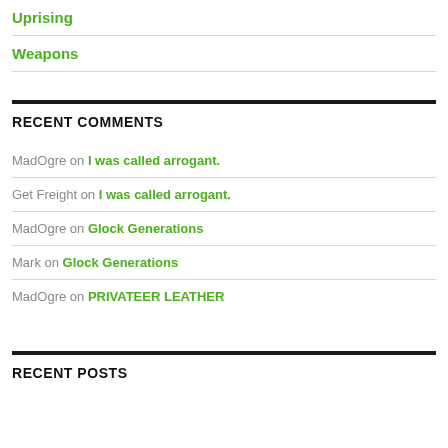Uprising
Weapons
RECENT COMMENTS
MadOgre on I was called arrogant.
Get Freight on I was called arrogant.
MadOgre on Glock Generations
Mark on Glock Generations
MadOgre on PRIVATEER LEATHER
RECENT POSTS